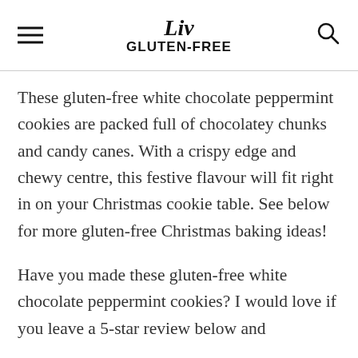Liv GLUTEN-FREE
These gluten-free white chocolate peppermint cookies are packed full of chocolatey chunks and candy canes. With a crispy edge and chewy centre, this festive flavour will fit right in on your Christmas cookie table. See below for more gluten-free Christmas baking ideas!
Have you made these gluten-free white chocolate peppermint cookies? I would love if you leave a 5-star review below and